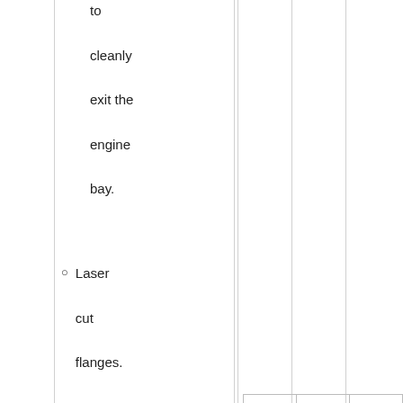to cleanly exit the engine bay.
Laser cut flanges.
Mandrel bent stainless steel.
Strong construction provides years of
| – | – | – |